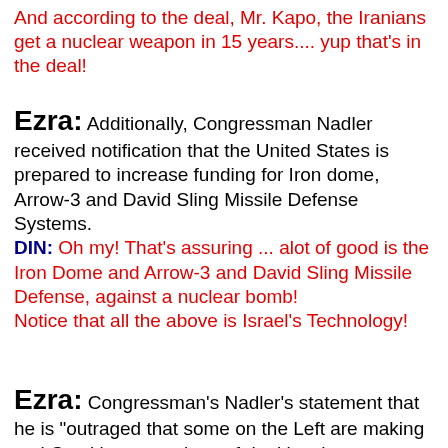And according to the deal, Mr. Kapo, the Iranians get a nuclear weapon in 15 years.... yup that's in the deal!
Ezra: Additionally, Congressman Nadler received notification that the United States is prepared to increase funding for Iron dome, Arrow-3 and David Sling Missile Defense Systems.
DIN: Oh my! That's assuring ... alot of good is the Iron Dome and Arrow-3 and David Sling Missile Defense, against a nuclear bomb!
Notice that all the above is Israel's Technology!
Ezra: Congressman's Nadler's statement that he is "outraged that some on the Left are making anti-Semitic accusations of dual loyalty or treason when someone, particularly a Jewish member of Congress, decides to oppose the agreement" is also reflective